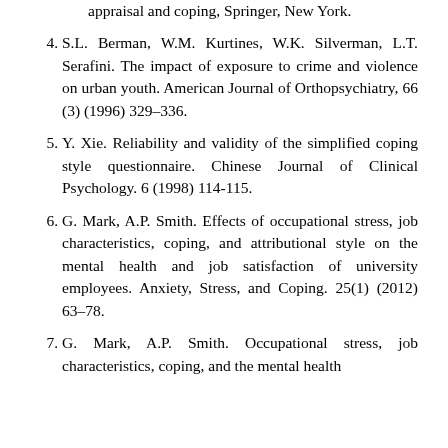(continuation) appraisal and coping, Springer, New York.
4. S.L. Berman, W.M. Kurtines, W.K. Silverman, L.T. Serafini. The impact of exposure to crime and violence on urban youth. American Journal of Orthopsychiatry, 66 (3) (1996) 329–336.
5. Y. Xie. Reliability and validity of the simplified coping style questionnaire. Chinese Journal of Clinical Psychology. 6 (1998) 114-115.
6. G. Mark, A.P. Smith. Effects of occupational stress, job characteristics, coping, and attributional style on the mental health and job satisfaction of university employees. Anxiety, Stress, and Coping. 25(1) (2012) 63–78.
7. G. Mark, A.P. Smith. Occupational stress, job characteristics, coping, and the mental health